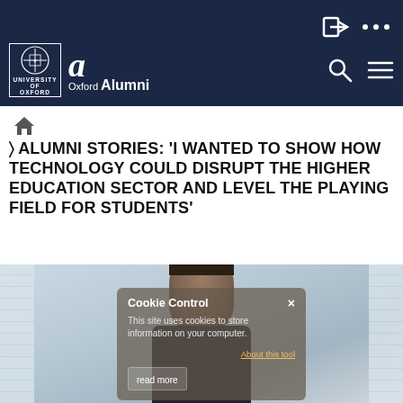University of Oxford Alumni — navigation header with login, search, and menu icons
🏠 (home icon breadcrumb)
> ALUMNI STORIES: 'I WANTED TO SHOW HOW TECHNOLOGY COULD DISRUPT THE HIGHER EDUCATION SECTOR AND LEVEL THE PLAYING FIELD FOR STUDENTS'
[Figure (photo): Photograph of a young man with short dark hair wearing a dark jacket, shown from the shoulders up, with an urban building background. A semi-transparent cookie control popup overlay is visible in the lower-centre of the image.]